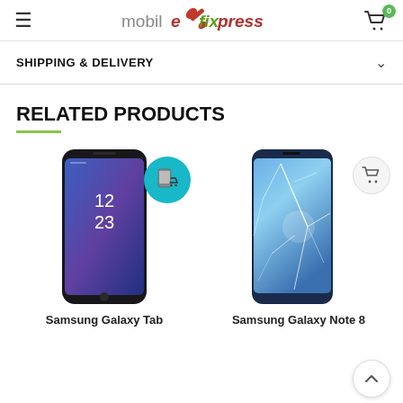mobilexpress (logo) - shopping cart with 0 items
SHIPPING & DELIVERY
RELATED PRODUCTS
[Figure (photo): Samsung Galaxy S8 smartphone with dark screen showing 12:23 time, with teal add-to-cart overlay button]
Samsung Galaxy Tab
[Figure (photo): Samsung Galaxy S8 or Note 8 smartphone with cracked/shattered screen in blue tones]
Samsung Galaxy Note 8